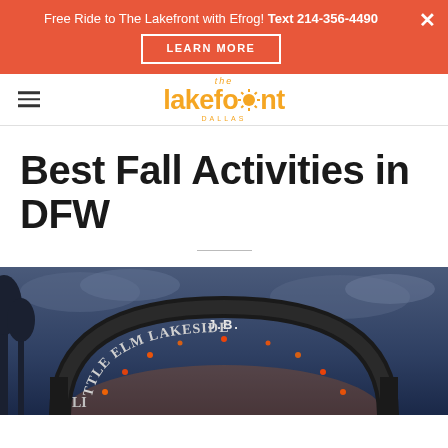Free Ride to The Lakefront with Efrog! Text 214-356-4490
LEARN MORE
[Figure (logo): The Lakefront logo in orange/yellow with sun icon replacing letter 'o']
Best Fall Activities in DFW
[Figure (photo): Photograph of an arched sign reading 'J.B. LITTLE ELM LAKESIDE' with orange string lights against a dusk sky]